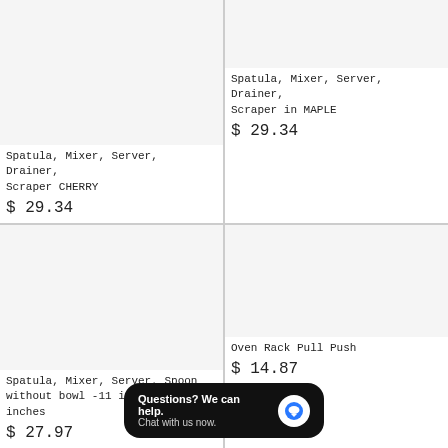[Figure (photo): Product image placeholder - top left (cherry spatula)]
[Figure (photo): Product image placeholder - top right (maple spatula)]
Spatula, Mixer, Server, Drainer, Scraper CHERRY
$ 29.34
Spatula, Mixer, Server, Drainer, Scraper in MAPLE
$ 29.34
[Figure (photo): Product image placeholder - bottom left (spatula/spoon)]
[Figure (photo): Product image placeholder - bottom right (oven rack pull push)]
Spatula, Mixer, Server, Spoon without bowl -11 inches by 3 inches
$ 27.97
Oven Rack Pull Push
$ 14.87
Questions? We can help. Chat with us now.